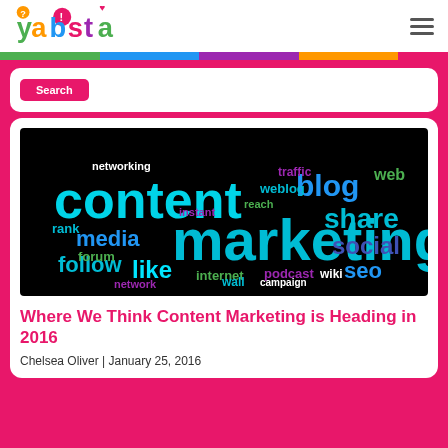yabsta
[Figure (illustration): Word cloud image on black background with content marketing terms: 'content', 'marketing', 'blog', 'share', 'social', 'seo', 'media', 'follow', 'like', 'internet', 'podcast', 'wiki', 'web', 'traffic', 'weblog', 'rank', 'forum', 'network', 'wall', and many others in various colors including cyan, blue, green, purple on black background.]
Where We Think Content Marketing is Heading in 2016
Chelsea Oliver | January 25, 2016